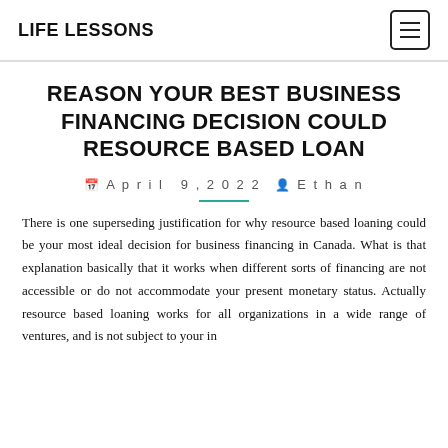LIFE LESSONS
REASON YOUR BEST BUSINESS FINANCING DECISION COULD RESOURCE BASED LOAN
April 9, 2022  Ethan
There is one superseding justification for why resource based loaning could be your most ideal decision for business financing in Canada. What is that explanation basically that it works when different sorts of financing are not accessible or do not accommodate your present monetary status. Actually resource based loaning works for all organizations in a wide range of ventures, and is not subject to your in